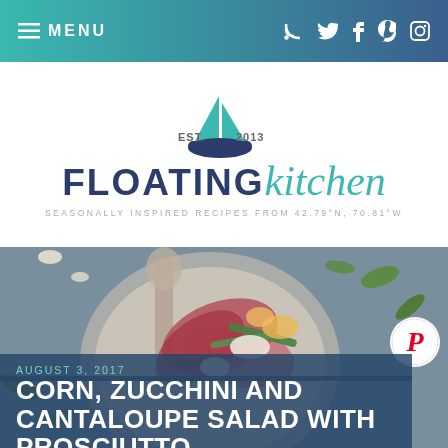≡ MENU  [social icons: RSS, Twitter, Facebook, Pinterest, Instagram]
[Figure (logo): Floating Kitchen blog logo with sailboat icon, EST. 2013, FLOATING kitchen text, tagline SEASONALLY INSPIRED RECIPES FROM 42.79°N, 70.81°W]
[Figure (photo): A bowl of corn, zucchini and cantaloupe salad with prosciutto photographed from above, with a spoon and green herbs around it]
AUGUST 3, 2017
CORN, ZUCCHINI AND CANTALOUPE SALAD WITH PROSCIUTTO